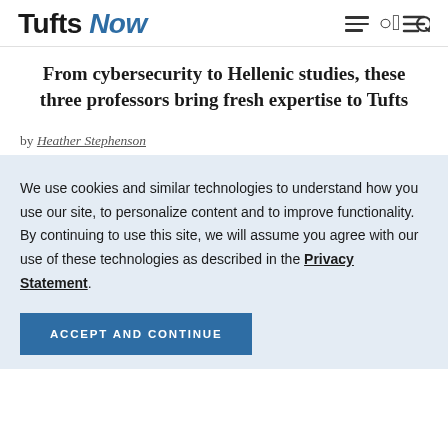Tufts Now
From cybersecurity to Hellenic studies, these three professors bring fresh expertise to Tufts
by Heather Stephenson
We use cookies and similar technologies to understand how you use our site, to personalize content and to improve functionality. By continuing to use this site, we will assume you agree with our use of these technologies as described in the Privacy Statement.
ACCEPT AND CONTINUE